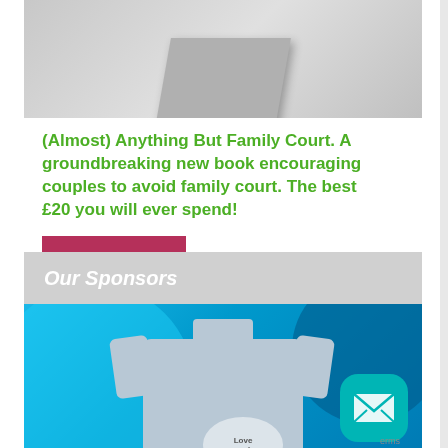[Figure (photo): Partial view of a book with grey/silver cover on grey background, cropped at top]
(Almost) Anything But Family Court. A groundbreaking new book encouraging couples to avoid family court. The best £20 you will ever spend!
Buy Here
Our Sponsors
[Figure (photo): Light blue hoodie sweatshirt with a heart hands logo showing 'Love needs' text, displayed on a bright blue background]